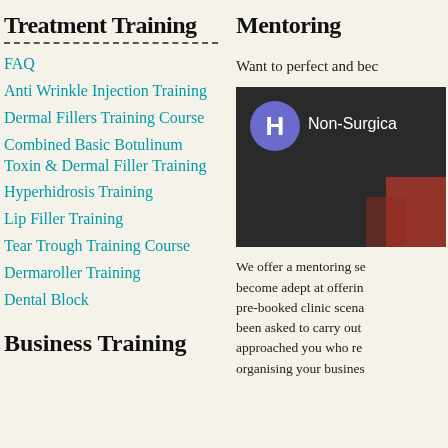Treatment Training
FAQ
Anti Wrinkle Injection Training
Dermal Fillers Training Course
Combined Basic Botulinum Toxin & Dermal Filler Training
Hyperhidrosis Training
Lip Filler Training
Tear Trough Training Course
Dermaroller Training
Dental Block
Business Training
Mentoring
Want to perfect and bec
[Figure (screenshot): Video thumbnail showing a purple avatar circle with letter H and text 'Non-Surgica' on dark background]
We offer a mentoring se become adept at offerin pre-booked clinic scena been asked to carry out approached you who re organising your busines